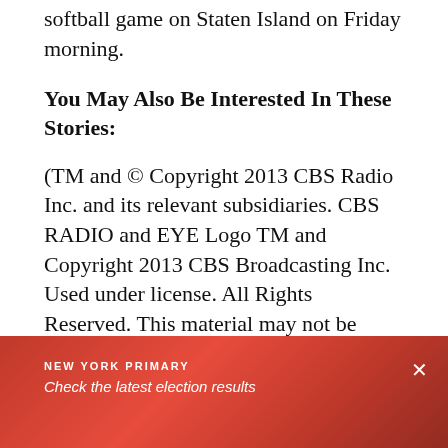softball game on Staten Island on Friday morning.
You May Also Be Interested In These Stories:
(TM and © Copyright 2013 CBS Radio Inc. and its relevant subsidiaries. CBS RADIO and EYE Logo TM and Copyright 2013 CBS Broadcasting Inc. Used under license. All Rights Reserved. This material may not be published, broadcast, rewritten, or redistributed. The Associated Press contributed to this report.)
NEW YORK PRIMARY
Check the latest election results